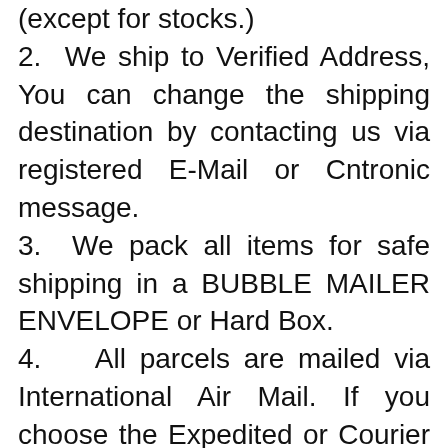(except for stocks.)
2. We ship to Verified Address, You can change the shipping destination by contacting us via registered E-Mail or Cntronic message.
3. We pack all items for safe shipping in a BUBBLE MAILER ENVELOPE or Hard Box.
4. All parcels are mailed via International Air Mail. If you choose the Expedited or Courier Shipping Service, We will send it by EMS, DHL or UPS.
5. The parcel will arrive within 15~25 days after delivery for most countries.